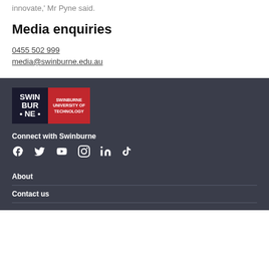innovate,' Mr Pyne said.
Media enquiries
0455 502 999
media@swinburne.edu.au
[Figure (logo): Swinburne University of Technology logo with black left panel showing 'SWINBURNE' text and red right panel with 'SWINBURNE UNIVERSITY OF TECHNOLOGY']
Connect with Swinburne
[Figure (infographic): Social media icons: Facebook, Twitter, YouTube, Instagram, LinkedIn, TikTok]
About
Contact us